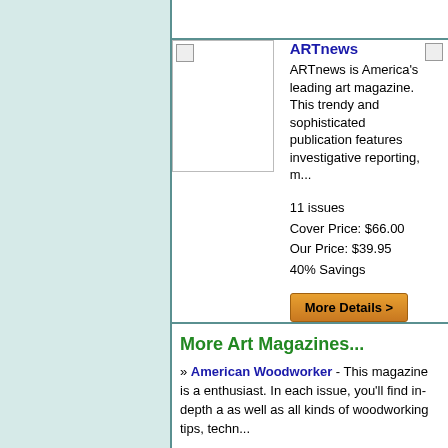[Figure (screenshot): Product listing thumbnail image placeholder for ARTnews magazine]
ARTnews
ARTnews is America's leading art magazine. This trendy and sophisticated publication features investigative reporting, m...
11 issues
Cover Price: $66.00
Our Price: $39.95
40% Savings
[Figure (other): More Details button]
More Art Magazines...
» American Woodworker - This magazine is a enthusiast. In each issue, you'll find in-depth a as well as all kinds of woodworking tips, techn...